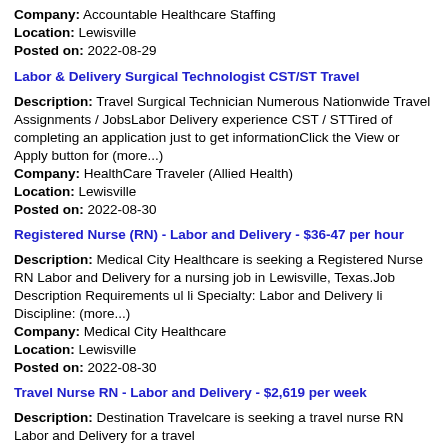Company: Accountable Healthcare Staffing
Location: Lewisville
Posted on: 2022-08-29
Labor & Delivery Surgical Technologist CST/ST Travel
Description: Travel Surgical Technician Numerous Nationwide Travel Assignments / JobsLabor Delivery experience CST / STTired of completing an application just to get informationClick the View or Apply button for (more...)
Company: HealthCare Traveler (Allied Health)
Location: Lewisville
Posted on: 2022-08-30
Registered Nurse (RN) - Labor and Delivery - $36-47 per hour
Description: Medical City Healthcare is seeking a Registered Nurse RN Labor and Delivery for a nursing job in Lewisville, Texas.Job Description Requirements ul li Specialty: Labor and Delivery li Discipline: (more...)
Company: Medical City Healthcare
Location: Lewisville
Posted on: 2022-08-30
Travel Nurse RN - Labor and Delivery - $2,619 per week
Description: Destination Travelcare is seeking a travel nurse RN Labor and Delivery for a travel
Company: Destination Travelcare
Location: Lewisville